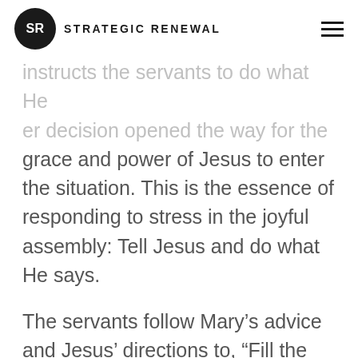SR STRATEGIC RENEWAL
grace and power of Jesus to enter the situation. This is the essence of responding to stress in the joyful assembly: Tell Jesus and do what He says.
The servants follow Mary's advice and Jesus' directions to, “Fill the jars with water.” They carry out His instructions completely and fill the water jars to the brim. Their example reminds us of the complete obedience that the Lord’s servants are to have when the Lord gives us instructions.